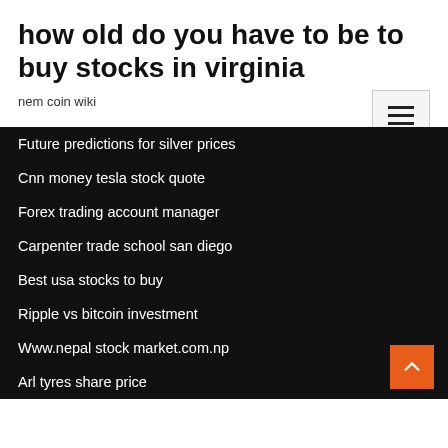how old do you have to be to buy stocks in virginia
nem coin wiki
Future predictions for silver prices
Cnn money tesla stock quote
Forex trading account manager
Carpenter trade school san diego
Best usa stocks to buy
Ripple vs bitcoin investment
Www.nepal stock market.com.np
Arl tyres share price